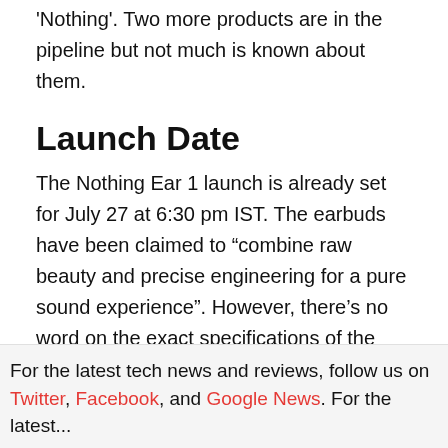'Nothing'. Two more products are in the pipeline but not much is known about them.
Launch Date
The Nothing Ear 1 launch is already set for July 27 at 6:30 pm IST. The earbuds have been claimed to “combine raw beauty and precise engineering for a pure sound experience”. However, there’s no word on the exact specifications of the earbuds. The company has partnered with Flipkart in the country to sell its product through online channels. Flipkart will offer Nothing ear 1 with doorstep delivery and No Cost EMI options.
For the latest tech news and reviews, follow us on Twitter, Facebook, and Google News. For the latest...